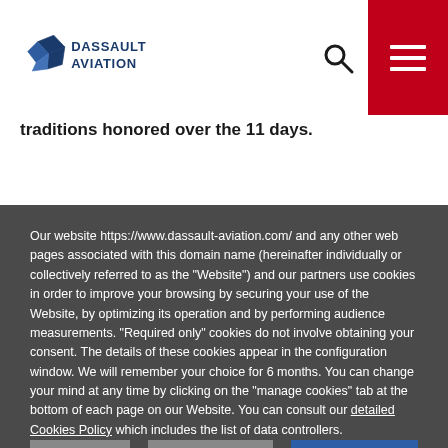[Figure (logo): Dassault Aviation logo with diamond/aircraft icon and company name text]
traditions honored over the 11 days.
Our website https://www.dassault-aviation.com/ and any other web pages associated with this domain name (hereinafter individually or collectively referred to as the "Website") and our partners use cookies in order to improve your browsing by securing your use of the Website, by optimizing its operation and by performing audience measurements. "Required only" cookies do not involve obtaining your consent. The details of these cookies appear in the configuration window. We will remember your choice for 6 months. You can change your mind at any time by clicking on the "manage cookies" tab at the bottom of each page on our Website. You can consult our detailed Cookies Policy which includes the list of data controllers.
Settings
REJECT ALL
ACCEPT ALL